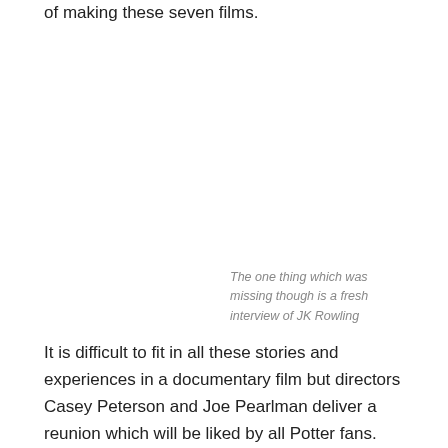of making these seven films.
The one thing which was missing though is a fresh interview of JK Rowling
It is difficult to fit in all these stories and experiences in a documentary film but directors Casey Peterson and Joe Pearlman deliver a reunion which will be liked by all Potter fans.